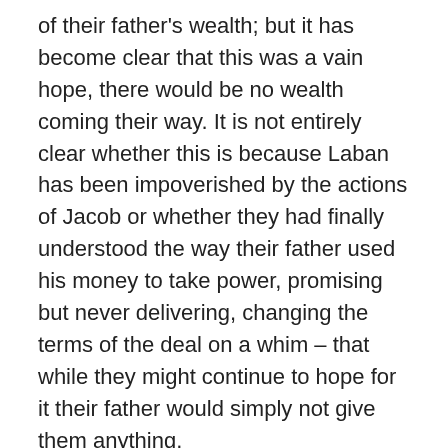of their father's wealth; but it has become clear that this was a vain hope, there would be no wealth coming their way. It is not entirely clear whether this is because Laban has been impoverished by the actions of Jacob or whether they had finally understood the way their father used his money to take power, promising but never delivering, changing the terms of the deal on a whim – that while they might continue to hope for it their father would simply not give them anything.
And worse than this, Laban has not behaved properly in the matter of their marriage – they would have expected there to be a dowry for each of them, monies that should be spent on them. While it is true that Jacob came without much wealth, but he worked an unusual and substantial number of years for each woman, earning Laban serious income. That wealth was not put aside for the use of the